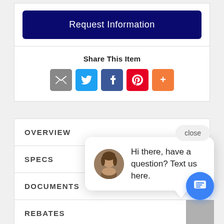Request Information
Share This Item
[Figure (infographic): Social sharing icons: email (gray), Twitter (blue), Facebook (dark blue), Pinterest (red), More (orange)]
close
[Figure (photo): Chat popup with avatar photo of a woman and text: Hi there, have a question? Text us here.]
OVERVIEW
SPECS
DOCUMENTS
REBATES